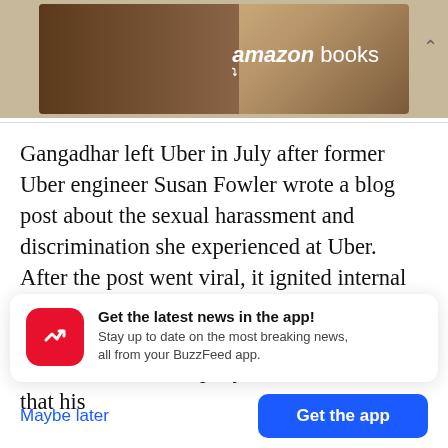[Figure (illustration): Amazon Books advertisement banner with a photo of two people reading and the Amazon Books logo in white text]
Gangadhar left Uber in July after former Uber engineer Susan Fowler wrote a blog post about the sexual harassment and discrimination she experienced at Uber. After the post went viral, it ignited internal investigations into the company's culture. Gangadhar was Fowler's manager; at the time he left the company, Uber told Recode that his
[Figure (infographic): BuzzFeed app notification card with red icon and text: Get the latest news in the app! Stay up to date on the most breaking news, all from your BuzzFeed app.]
Maybe later
Get the app